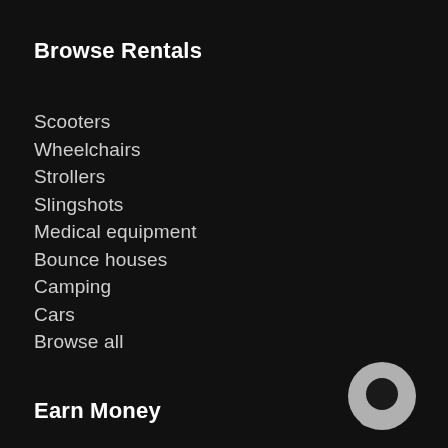Browse Rentals
Scooters
Wheelchairs
Strollers
Slingshots
Medical equipment
Bounce houses
Camping
Cars
Browse all
Earn Money
[Figure (logo): Chat bubble icon, circular shape in gray with a dark inner circle]